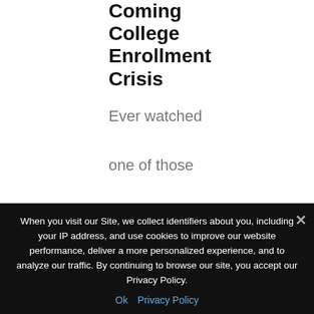Coming College Enrollment Crisis
Ever watched one of those TV shows about doomsday preppers? You know, the ones
[Figure (photo): A smiling young woman wearing a graduation cap outdoors with trees in the background]
When you visit our Site, we collect identifiers about you, including your IP address, and use cookies to improve our website performance, deliver a more personalized experience, and to analyze our traffic. By continuing to browse our site, you accept our Privacy Policy.
Ok   Privacy Policy